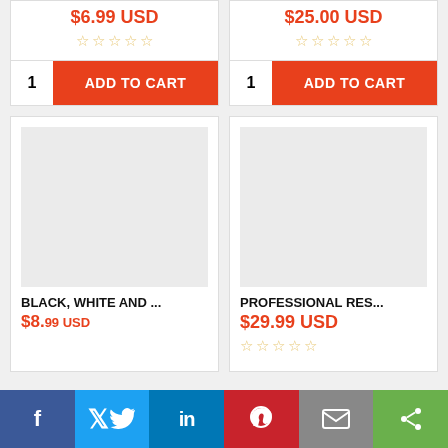$6.99 USD
☆☆☆☆☆
1  ADD TO CART
$25.00 USD
☆☆☆☆☆
1  ADD TO CART
[Figure (photo): Product image placeholder - light gray rectangle]
BLACK, WHITE AND ...
$8.99 USD (partial)
[Figure (photo): Product image placeholder - light gray rectangle]
PROFESSIONAL RES...
$29.99 USD
☆☆☆☆☆
f  Twitter  in  Pinterest  mail  share